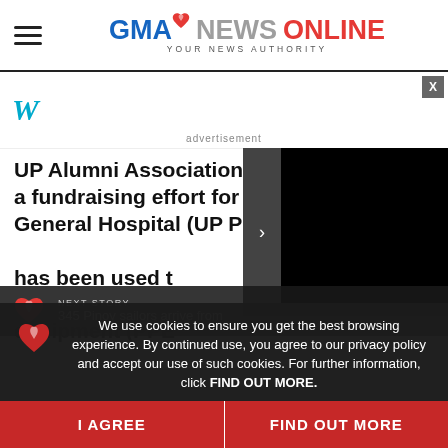GMA NEWS ONLINE — YOUR NEWS AUTHORITY
[Figure (logo): GMA News Online logo with tagline 'YOUR NEWS AUTHORITY']
[Figure (screenshot): Advertisement banner area with close button (X) and Weatherbug-style icon]
advertisement
UP Alumni Association-NL has launched a fundraising effort for the UP Philippine General Hospital (UP PGH). The money raised has been used to procure personal protective equipment (PPE).
[Figure (screenshot): Black video player overlay with forward arrow button]
[Figure (screenshot): Next Story bar with thumbnail and title '345 Pinoy sailors arrive from...']
We use cookies to ensure you get the best browsing experience. By continued use, you agree to our privacy policy and accept our use of such cookies. For further information, click FIND OUT MORE.
I AGREE
FIND OUT MORE